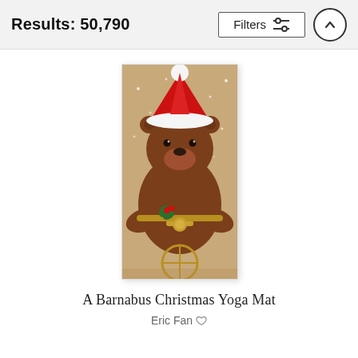Results: 50,790
[Figure (illustration): Illustrated bear wearing a red Santa hat, riding a bicycle decorated with holly berries. Background is warm tan/beige. Artwork for 'A Barnabus Christmas Yoga Mat' by Eric Fan.]
A Barnabus Christmas Yoga Mat
Eric Fan